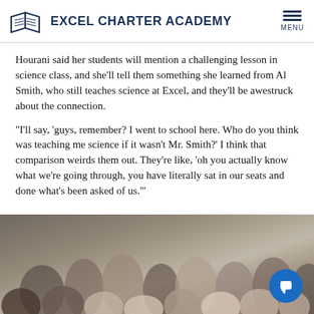EXCEL CHARTER ACADEMY
Hourani said her students will mention a challenging lesson in science class, and she'll tell them something she learned from Al Smith, who still teaches science at Excel, and they'll be awestruck about the connection.
“I'll say, ‘guys, remember? I went to school here. Who do you think was teaching me science if it wasn't Mr. Smith?’ I think that comparison weirds them out. They're like, ‘oh you actually know what we’re going through, you have literally sat in our seats and done what’s been asked of us.’”
[Figure (photo): Group photo of students, appears to be a school event or graduation, multiple young people crowded together looking at camera]